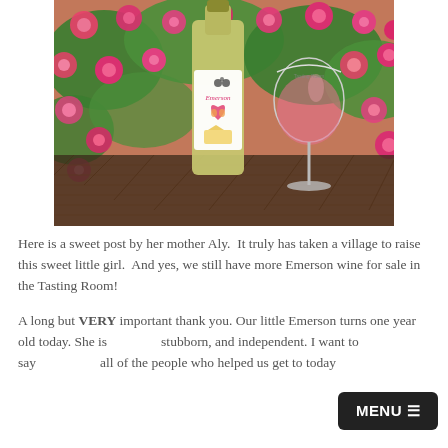[Figure (photo): Photo of a wine bottle labeled 'Emerson' with a heart and baby feet design, placed among pink flowers next to a glass of rosé wine on a wicker surface outdoors.]
Here is a sweet post by her mother Aly. It truly has taken a village to raise this sweet little girl. And yes, we still have more Emerson wine for sale in the Tasting Room!
A long but VERY important thank you. Our little Emerson turns one year old today. She is stubborn, and independent. I want to say all of the people who helped us get to today